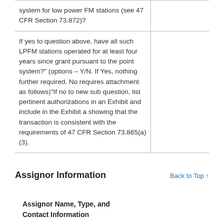| Question | Response |
| --- | --- |
| system for low power FM stations (see 47 CFR Section 73.872)? |  |
| If yes to question above, have all such LPFM stations operated for at least four years since grant pursuant to the point system?" (options – Y/N. If Yes, nothing further required. No requires attachment as follows)"If no to new sub question, list pertinent authorizations in an Exhibit and include in the Exhibit a showing that the transaction is consistent with the requirements of 47 CFR Section 73.865(a)(3). |  |
Assignor Information
Back to Top ↑
Assignor Name, Type, and Contact Information